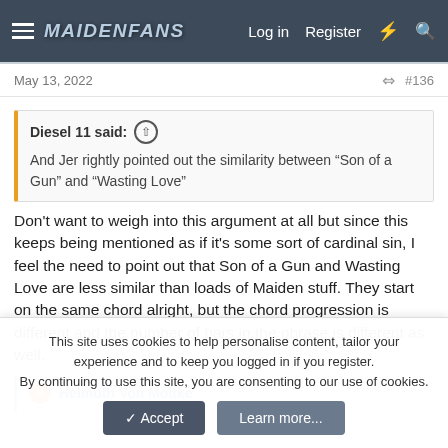MaidenFans — Log in  Register
May 13, 2022  #136
Diesel 11 said:
And Jer rightly pointed out the similarity between “Son of a Gun” and “Wasting Love”
Don't want to weigh into this argument at all but since this keeps being mentioned as if it's some sort of cardinal sin, I feel the need to point out that Son of a Gun and Wasting Love are less similar than loads of Maiden stuff. They start on the same chord alright, but the chord progression is different and the number of bars in the phrase is different as well.
Helmuth Von Moltke
This site uses cookies to help personalise content, tailor your experience and to keep you logged in if you register.
By continuing to use this site, you are consenting to our use of cookies.